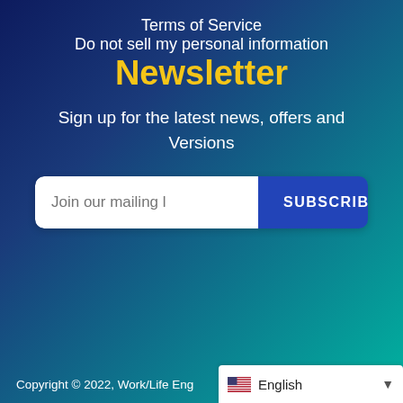Terms of Service
Do not sell my personal information
Newsletter
Sign up for the latest news, offers and Versions
[Figure (screenshot): Email subscription form with text input placeholder 'Join our mailing l' and a blue SUBSCRIBE button]
Copyright © 2022, Work/Life Eng... English